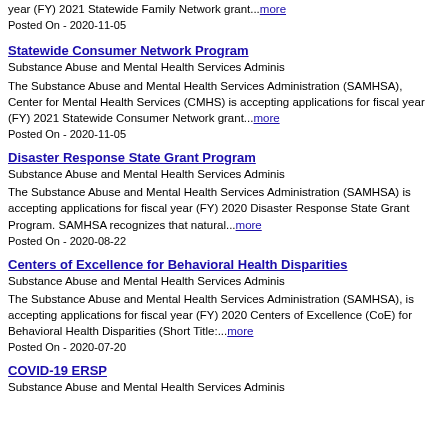year (FY) 2021 Statewide Family Network grant...more
Posted On - 2020-11-05
Statewide Consumer Network Program
Substance Abuse and Mental Health Services Adminis
The Substance Abuse and Mental Health Services Administration (SAMHSA), Center for Mental Health Services (CMHS) is accepting applications for fiscal year (FY) 2021 Statewide Consumer Network grant...more
Posted On - 2020-11-05
Disaster Response State Grant Program
Substance Abuse and Mental Health Services Adminis
The Substance Abuse and Mental Health Services Administration (SAMHSA) is accepting applications for fiscal year (FY) 2020 Disaster Response State Grant Program. SAMHSA recognizes that natural...more
Posted On - 2020-08-22
Centers of Excellence for Behavioral Health Disparities
Substance Abuse and Mental Health Services Adminis
The Substance Abuse and Mental Health Services Administration (SAMHSA), is accepting applications for fiscal year (FY) 2020 Centers of Excellence (CoE) for Behavioral Health Disparities (Short Title:...more
Posted On - 2020-07-20
COVID-19 ERSP
Substance Abuse and Mental Health Services Adminis